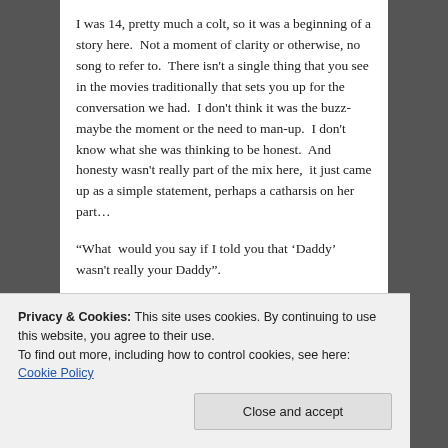I was 14, pretty much a colt, so it was a beginning of a story here.  Not a moment of clarity or otherwise, no song to refer to.  There isn't a single thing that you see in the movies traditionally that sets you up for the conversation we had.  I don't think it was the buzz- maybe the moment or the need to man-up.  I don't know what she was thinking to be honest.  And honesty wasn't really part of the mix here,  it just came up as a simple statement, perhaps a catharsis on her part…
“What  would you say if I told you that ‘Daddy’ wasn't really your Daddy”.
[Figure (photo): Dark navy/black background image with a teal rounded bar element near the top center]
Privacy & Cookies: This site uses cookies. By continuing to use this website, you agree to their use.
To find out more, including how to control cookies, see here: Cookie Policy
Close and accept